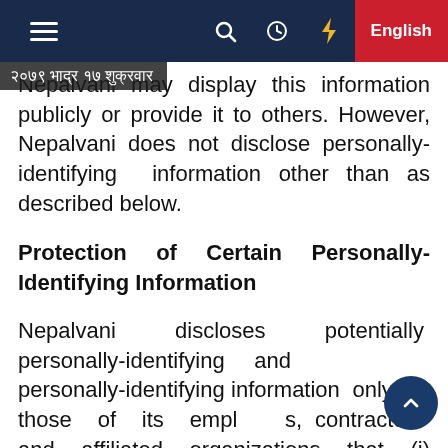≡  🔍  🕐  ⚡  English
२०७९ भाद्र १७ शुक्रवार
Nepalvani may display this information publicly or provide it to others. However, Nepalvani does not disclose personally-identifying information other than as described below.
Protection of Certain Personally-Identifying Information
Nepalvani discloses potentially personally-identifying and personally-identifying information only to those of its employees, contractors and affiliated organizations that (i) need to know that information in order to process